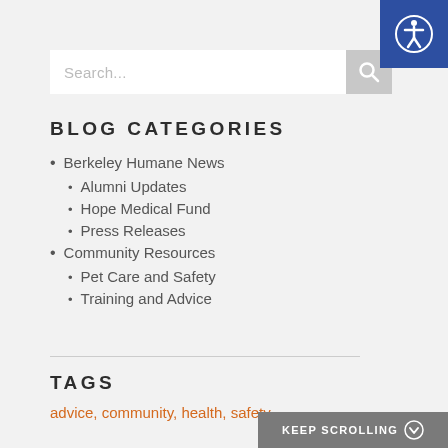[Figure (other): Accessibility icon button in top-right corner, blue background with white person/accessibility symbol]
[Figure (other): Search bar with placeholder text 'Search...' and gray search button with magnifier icon]
BLOG CATEGORIES
Berkeley Humane News
Alumni Updates
Hope Medical Fund
Press Releases
Community Resources
Pet Care and Safety
Training and Advice
TAGS
advice, community, health, safety
KEEP SCROLLING